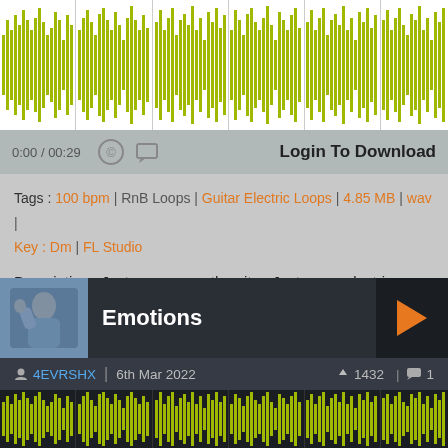[Figure (other): Audio waveform visualization in olive/yellow-green color on white background]
0:00 / 00:29
Login To Download
Tags : 100 bpm | RnB Loops | Guitar Electric Loops | 4.85 MB | wav | Key : Dm | FL Studio
Description : Just some smooth guitar. Just some electric guitar. Placement material. DM on IG if you want to get in contact with me. As always hope you enjoy.
Discord?
Check Bio
[Figure (other): Music track card for 'Emotions' by 4EVRSHX with thumbnail photo, play button, download count 1432, comment count 1]
[Figure (other): Audio waveform visualization in olive/yellow-green color on dark background at bottom]